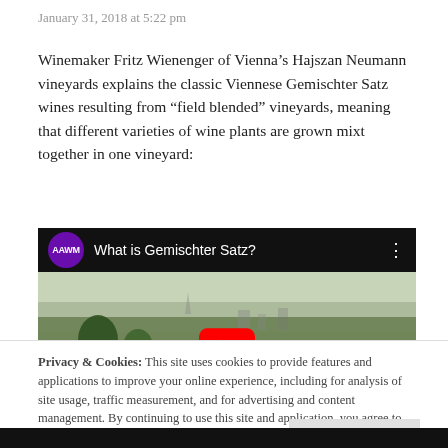January 31, 2018 at 5:22 pm
Winemaker Fritz Wienenger of Vienna’s Hajszan Neumann vineyards explains the classic Viennese Gemischter Satz wines resulting from “field blended” vineyards, meaning that different varieties of wine plants are grown mixt together in one vineyard:
[Figure (screenshot): YouTube video thumbnail titled 'What is Gemischter Satz?' from AAWM channel, showing aerial view of vineyard and Vienna cityscape with YouTube play button overlay]
Privacy & Cookies: This site uses cookies to provide features and applications to improve your online experience, including for analysis of site usage, traffic measurement, and for advertising and content management. By continuing to use this site and application, you agree to this use of cookies. Cookie Policy
Close and accept